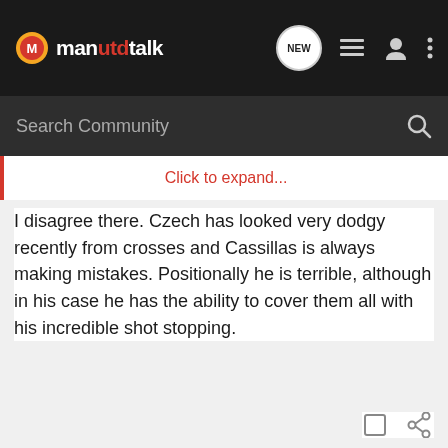manutdtalk
Click to expand...
I disagree there. Czech has looked very dodgy recently from crosses and Cassillas is always making mistakes. Positionally he is terrible, although in his case he has the ability to cover them all with his incredible shot stopping.
TheManc · Least popular Moderator
Joined May 16, 2008 · 24,837 Posts
#63 · Sep 14, 2008